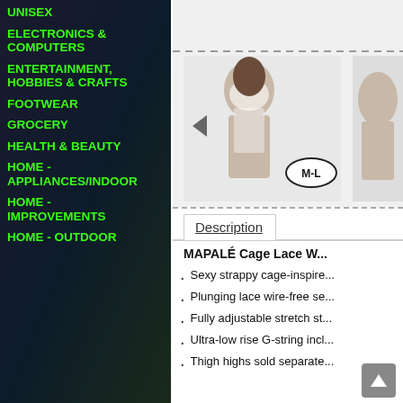UNISEX
ELECTRONICS & COMPUTERS
ENTERTAINMENT, HOBBIES & CRAFTS
FOOTWEAR
GROCERY
HEALTH & BEAUTY
HOME - APPLIANCES/INDOOR
HOME - IMPROVEMENTS
HOME - OUTDOOR
[Figure (photo): Woman modeling white lace lingerie set with M-L size badge overlay]
Description
MAPALÉ Cage Lace W...
Sexy strappy cage-inspire...
Plunging lace wire-free se...
Fully adjustable stretch st...
Ultra-low rise G-string incl...
Thigh highs sold separate...